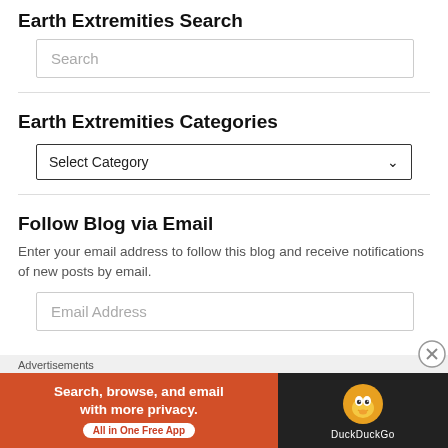Earth Extremities Search
Search
Earth Extremities Categories
Select Category
Follow Blog via Email
Enter your email address to follow this blog and receive notifications of new posts by email.
Email Address
Advertisements
[Figure (other): DuckDuckGo advertisement banner: orange section with text 'Search, browse, and email with more privacy. All in One Free App' and dark section with DuckDuckGo duck logo and 'DuckDuckGo' text]